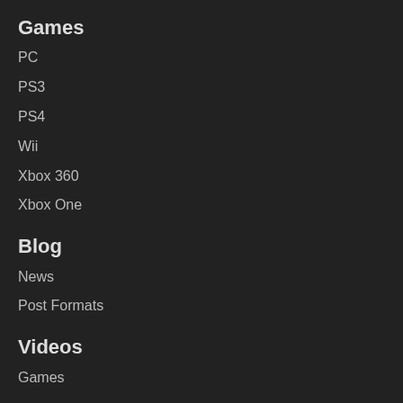Games
PC
PS3
PS4
Wii
Xbox 360
Xbox One
Blog
News
Post Formats
Videos
Games